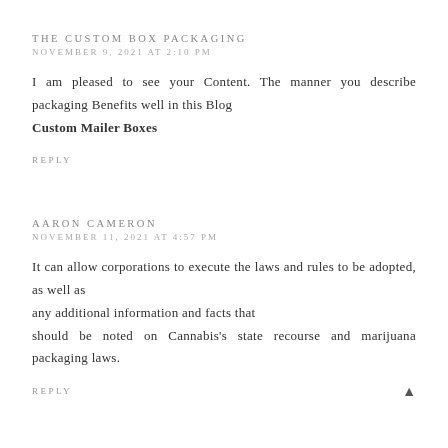THE CUSTOM BOX PACKAGING
NOVEMBER 9, 2021 AT 2:10 PM
I am pleased to see your Content. The manner you describe packaging Benefits well in this Blog
Custom Mailer Boxes
REPLY
AARON CAMERON
NOVEMBER 11, 2021 AT 4:57 PM
It can allow corporations to execute the laws and rules to be adopted, as well as
any additional information and facts that
should be noted on Cannabis's state recourse and marijuana packaging laws.
REPLY